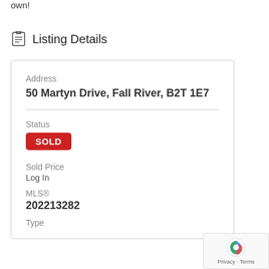own!
Listing Details
| Address | 50 Martyn Drive, Fall River, B2T 1E7 |
| Status | SOLD |
| Sold Price | Log In |
| MLS® | 202213282 |
| Type |  |